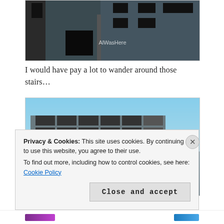[Figure (photo): Abandoned industrial building interior showing rusted metal stairs and deteriorating concrete walls with open window frames, watermarked 'AlWasHere']
I would have pay a lot to wander around those stairs…
[Figure (photo): Abandoned multi-story concrete building exterior under blue sky, with a man in a purple shirt standing in front of the ruins]
Privacy & Cookies: This site uses cookies. By continuing to use this website, you agree to their use. To find out more, including how to control cookies, see here: Cookie Policy
Close and accept